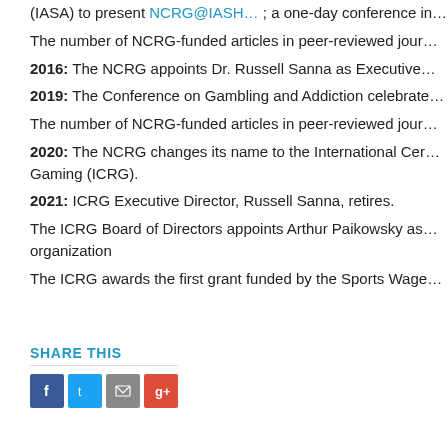(IASA) to present NCRG@IASH…; a one-day conference in…
The number of NCRG-funded articles in peer-reviewed jour…
2016: The NCRG appoints Dr. Russell Sanna as Executive…
2019: The Conference on Gambling and Addiction celebrate…
The number of NCRG-funded articles in peer-reviewed jour…
2020: The NCRG changes its name to the International Cer… Gaming (ICRG).
2021: ICRG Executive Director, Russell Sanna, retires.
The ICRG Board of Directors appoints Arthur Paikowsky as… organization
The ICRG awards the first grant funded by the Sports Wage…
SHARE THIS